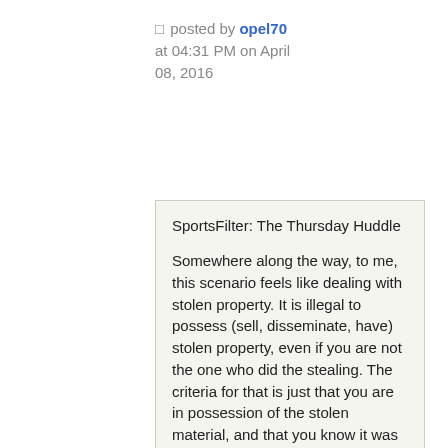posted by opel70 at 04:31 PM on April 08, 2016
SportsFilter: The Thursday Huddle

Somewhere along the way, to me, this scenario feels like dealing with stolen property. It is illegal to possess (sell, disseminate, have) stolen property, even if you are not the one who did the stealing. The criteria for that is just that you are in possession of the stolen material, and that you know it was stolen. And since the only way to get this